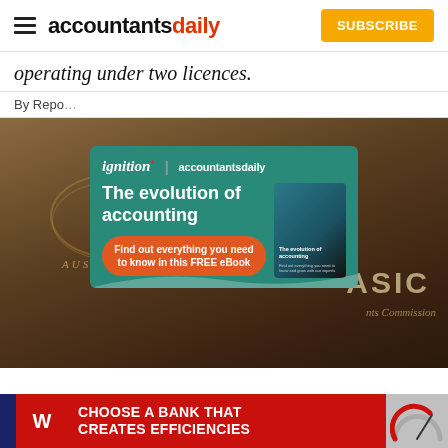accountantsdaily — SUBSCRIBE
operating under two licences.
By Repo…
[Figure (photo): ASIC — Australian Securities and Investments Commission plaque on a wooden surface]
[Figure (infographic): Ignition + accountantsdaily promotional popup ad: 'The evolution of accounting — Find out everything you need to know in this FREE eBook']
[Figure (infographic): Westpac banner ad: 'CHOOSE A BANK THAT CREATES EFFICIENCIES']